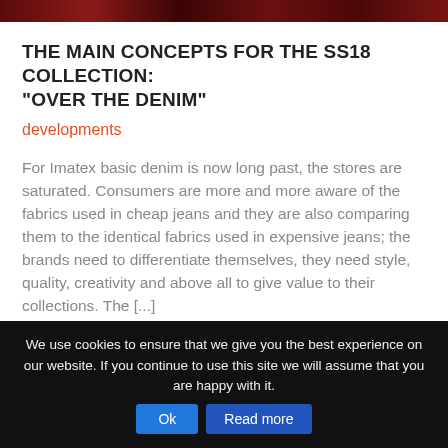[Figure (photo): Partial view of a red/dark-toned image at the top of the page, appears to be a fashion or textile related photograph]
THE MAIN CONCEPTS FOR THE SS18 COLLECTION: "OVER THE DENIM"
developments
For Imatex basic denim is now long past, the stores are saturated. Consumers are more and more aware of the fabrics used in cheap jeans and they are also comparing them to the identical fabrics used in expensive jeans; the brands need to differentiate themselves, they need style, quality, creativity and above all to give value to their collections. The [...]
READ MORE →
We use cookies to ensure that we give you the best experience on our website. If you continue to use this site we will assume that you are happy with it. Ok Read more